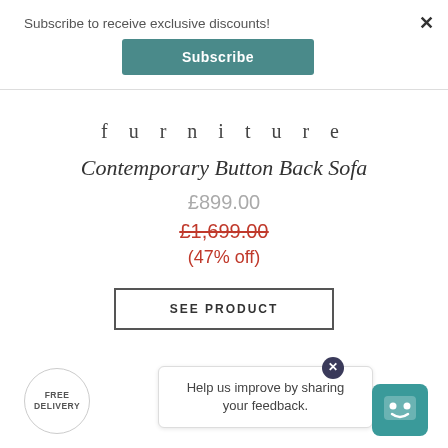Subscribe to receive exclusive discounts!
Subscribe
×
furniture
Contemporary Button Back Sofa
£899.00
£1,699.00
(47% off)
SEE PRODUCT
Help us improve by sharing your feedback.
FREE DELIVERY